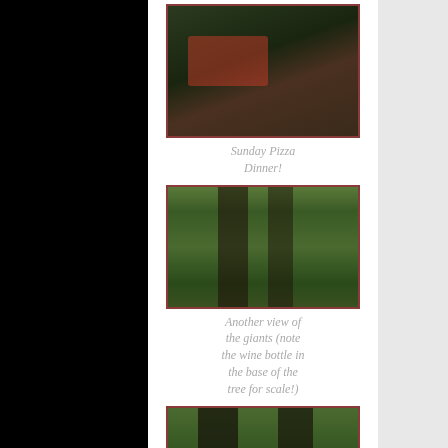[Figure (photo): Photo of Sunday pizza dinner outdoors on a table in forest setting]
Sunday Pizza Dinner!
[Figure (photo): View looking up at giant redwood or sequoia trees in a forest]
Another view of the giants (note the wine bottle in the base of the tree for scale!)
[Figure (photo): Person standing between giant trees in forest with tent visible]
We finished with a stroll down to the water, with the mobs of Sunday